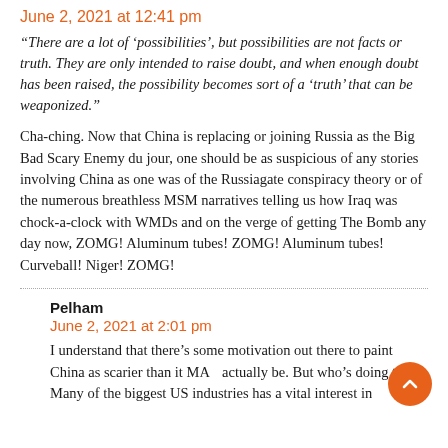June 2, 2021 at 12:41 pm
“There are a lot of ‘possibilities’, but possibilities are not facts or truth. They are only intended to raise doubt, and when enough doubt has been raised, the possibility becomes sort of a ‘truth’ that can be weaponized.”
Cha-ching. Now that China is replacing or joining Russia as the Big Bad Scary Enemy du jour, one should be as suspicious of any stories involving China as one was of the Russiagate conspiracy theory or of the numerous breathless MSM narratives telling us how Iraq was chock-a-clock with WMDs and on the verge of getting The Bomb any day now, ZOMG! Aluminum tubes! ZOMG! Aluminum tubes! Curveball! Niger! ZOMG!
Pelham
June 2, 2021 at 2:01 pm
I understand that there’s some motivation out there to paint China as scarier than it MAY actually be. But who’s doing this? Many of the biggest US industries has a vital interest in